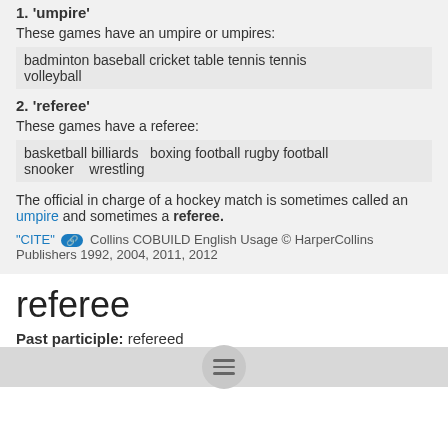1. 'umpire'
These games have an umpire or umpires:
badminton baseball cricket table tennis tennis volleyball
2. 'referee'
These games have a referee:
basketball billiards   boxing football rugby football snooker    wrestling
The official in charge of a hockey match is sometimes called an umpire and sometimes a referee.
"CITE" [link icon] Collins COBUILD English Usage © HarperCollins Publishers 1992, 2004, 2011, 2012
referee
Past participle: refereed